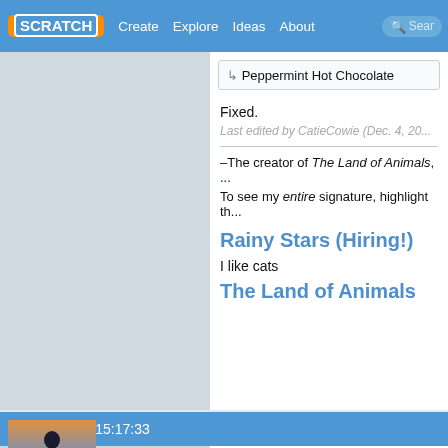SCRATCH  Create  Explore  Ideas  About  Search
↳ Peppermint Hot Chocolate
Fixed.
Last edited by CatieCowie (Dec. 4, 20...
–The creator of The Land of Animals, ...
To see my entire signature, highlight th...
Rainy Stars (Hiring!)
I like cats
The Land of Animals
Dec. 4, 2021 15:17:33
-_WaterPup_-
CatieCowie wrote: